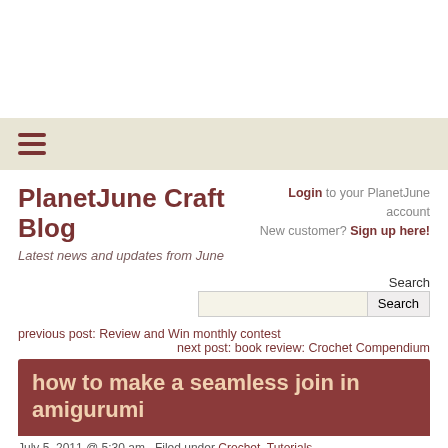PlanetJune Craft Blog — Latest news and updates from June
Login to your PlanetJune account
New customer? Sign up here!
Search
previous post: Review and Win monthly contest
next post: book review: Crochet Compendium
how to make a seamless join in amigurumi
July 5, 2011 @ 5:30 am · Filed under Crochet, Tutorials